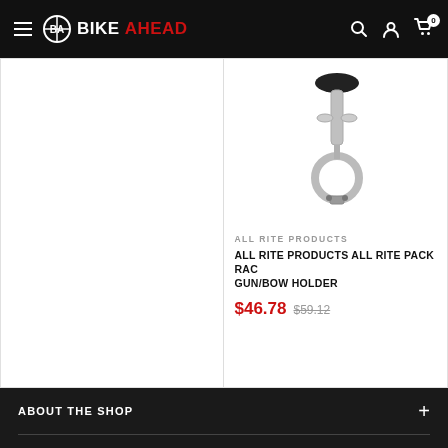BIKEAHEAD — navigation bar with logo, hamburger menu, search, account, and cart icons
[Figure (photo): Product photo of All Rite Pack Rack Gun/Bow Holder — a metal clamp/holder device with chrome finish, shown against white background]
ALL RITE PRODUCTS
ALL RITE PRODUCTS ALL RITE PACK RACK GUN/BOW HOLDER
$46.78  $59.12
ABOUT THE SHOP +